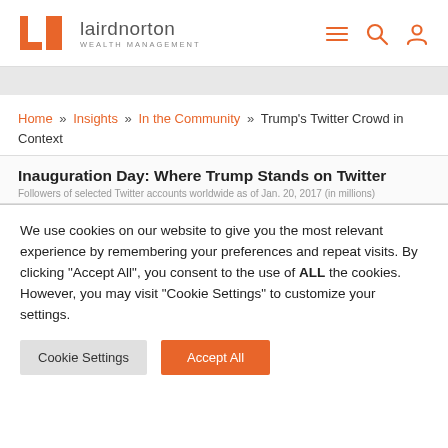[Figure (logo): Laird Norton Wealth Management logo with orange LN icon and gray text]
Home » Insights » In the Community » Trump's Twitter Crowd in Context
Inauguration Day: Where Trump Stands on Twitter
Followers of selected Twitter accounts worldwide as of Jan. 20, 2017 (in millions)
We use cookies on our website to give you the most relevant experience by remembering your preferences and repeat visits. By clicking "Accept All", you consent to the use of ALL the cookies. However, you may visit "Cookie Settings" to customize your settings.
Cookie Settings | Accept All